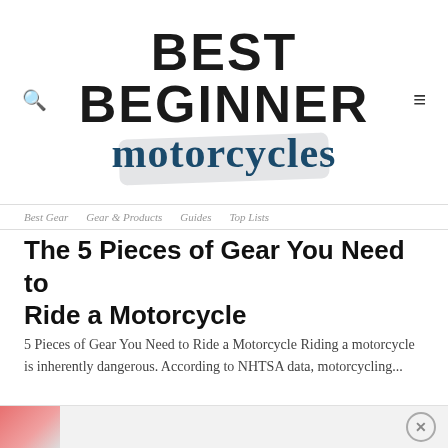[Figure (logo): Best Beginner Motorcycles website logo with bold black BEST BEGINNER text and cursive dark blue motorcycles text on a grey pill background]
Best Gear   Gear & Products   Guides   Top Lists
The 5 Pieces of Gear You Need to Ride a Motorcycle
5 Pieces of Gear You Need to Ride a Motorcycle Riding a motorcycle is inherently dangerous. According to NHTSA data, motorcycling...
READ MORE